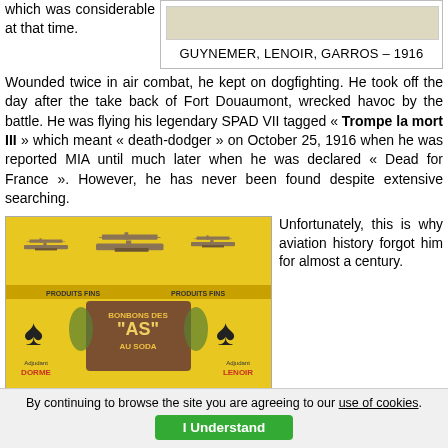which was considerable at that time.
[Figure (photo): Historical image related to Guynemer, Lenoir, Garros – 1916 aviators]
GUYNEMER, LENOIR, GARROS – 1916
Wounded twice in air combat, he kept on dogfighting. He took off the day after the take back of Fort Douaumont, wrecked havoc by the battle. He was flying his legendary SPAD VII tagged « Trompe la mort III » which meant « death-dodger » on October 25, 1916 when he was reported MIA until much later when he was declared « Dead for France ». However, he has never been found despite extensive searching.
[Figure (photo): Vintage advertisement image showing biplanes with yellow background and text 'BONBONS DES AS AU SODA', 'PRODUITS FINS', 'Adjudant DORME', 'Adjudant LENOIR']
Unfortunately, this is why aviation history forgot him for almost a century.
By continuing to browse the site you are agreeing to our use of cookies. I Understand